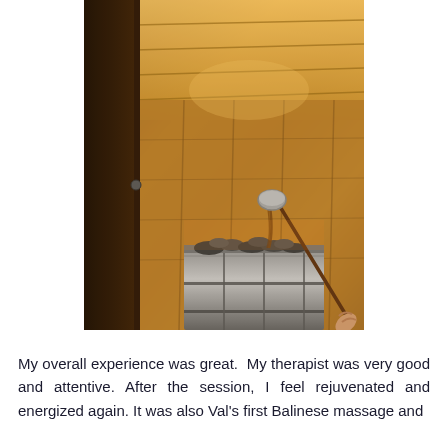[Figure (photo): Interior of a wooden sauna with horizontal pine plank walls and ceiling. A hand is holding a long-handled metal ladle pouring water onto sauna stones sitting on top of a metal sauna heater/kiuas in the foreground. The sauna interior is warmly lit.]
My overall experience was great.  My therapist was very good and attentive. After the session, I feel rejuvenated and energized again. It was also Val's first Balinese massage and